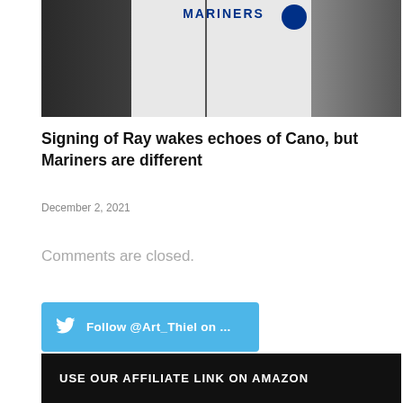[Figure (photo): Two people, one wearing a Seattle Mariners white baseball jersey, photographed from chest level up against a neutral background]
Signing of Ray wakes echoes of Cano, but Mariners are different
December 2, 2021
Comments are closed.
Follow @Art_Thiel on ...
USE OUR AFFILIATE LINK ON AMAZON